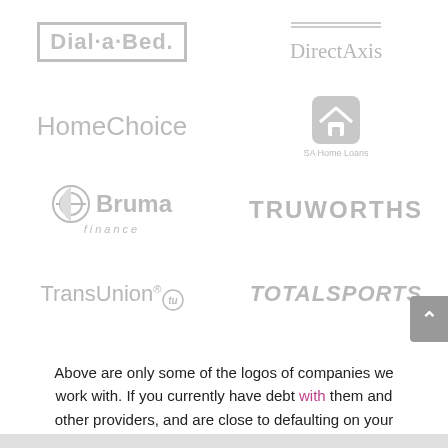[Figure (logo): Grid of company logos: Dial-a-Bed, DirectAxis, HomeChoice, SA Home Loans, Bruma Finance, Truworths, TransUnion, Totalsports]
Above are only some of the logos of companies we work with. If you currently have debt with them and other providers, and are close to defaulting on your payments, then contact us urgently and we'll look into your case.
[Figure (other): WhatsApp Us button (green rounded button with WhatsApp icon)]